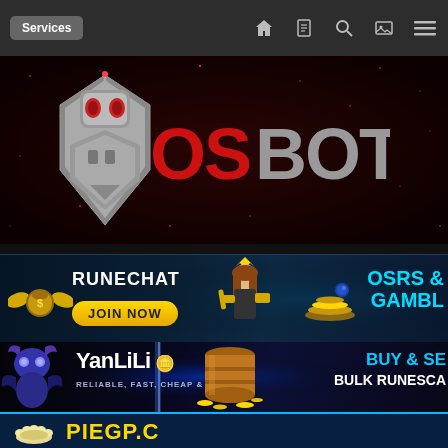Services | Navigation bar with home, document, search, image, menu icons
[Figure (screenshot): OSBot logo banner on dark red starfield background. Robot mascot with silver helmet and red eyes next to large OS BOT text in red and grey.]
[Figure (screenshot): RuneChat advertisement banner. Dark blue background with winged coin logo, RUNECHAT text, JOIN NOW yellow button, woman with gold items, OSRS & GAMBL text in cyan.]
[Figure (screenshot): YanLiLi advertisement banner. Dark blue/black background with fantasy character, YanLiLi logo text, RELIABLE FAST CHEAP & SAFE tagline, gold coin stack, BUY & SE BULK RUNESCA text in cyan.]
[Figure (screenshot): PieGP.com advertisement banner. Dark blue background with pie/bread icon and PIEGP.C text in yellow.]